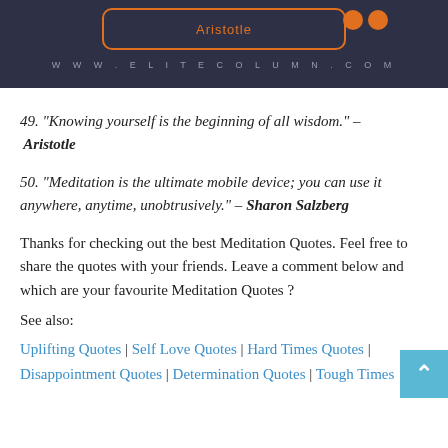[Figure (illustration): Dark navy banner with orange octagonal border containing the text 'Aristotle', two orange dots top right, and www.elitecolumn.com text at bottom]
49. “Knowing yourself is the beginning of all wisdom.” – Aristotle
50. “Meditation is the ultimate mobile device; you can use it anywhere, anytime, unobtrusively.” – Sharon Salzberg
Thanks for checking out the best Meditation Quotes. Feel free to share the quotes with your friends. Leave a comment below and which are your favourite Meditation Quotes ?
See also:
Uplifting Quotes | Self Love Quotes | Hard Times Quotes | Disappointment Quotes | Determination Quotes | Tough Times